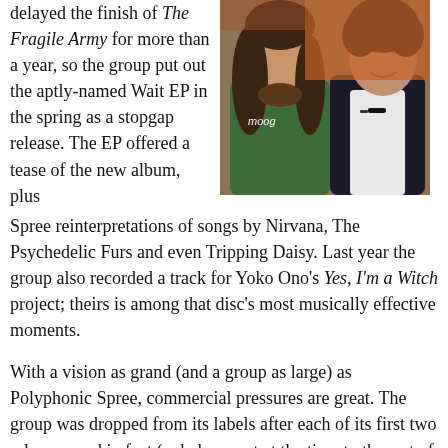delayed the finish of The Fragile Army for more than a year, so the group put out the aptly-named Wait EP in the spring as a stopgap release. The EP offered a tease of the new album, plus Spree reinterpretations of songs by Nirvana, The Psychedelic Furs and even Tripping Daisy. Last year the group also recorded a track for Yoko Ono's Yes, I'm a Witch project; theirs is among that disc's most musically effective moments.
[Figure (photo): Two men sitting together, one wearing a green Moog t-shirt with long hair, the other in a dark blazer with curly hair and sunglasses on his collar.]
With a vision as grand (and a group as large) as Polyphonic Spree, commercial pressures are great. The group was dropped from its labels after each of its first two releases, and in fact (unbeknownst at the time to the rest of the group) Tim and his wife financed the recording of The Fragile Army out of their own pockets. So how does the group manage to stay afloat financially? "It's tough," DeLaughter admits. "We work on